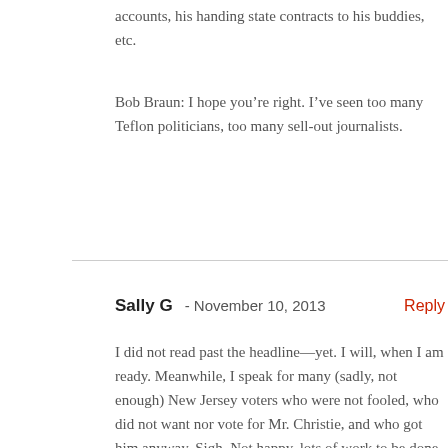accounts, his handing state contracts to his buddies, etc.
Bob Braun: I hope you’re right. I’ve seen too many Teflon politicians, too many sell-out journalists.
Sally G  -  November 10, 2013   Reply
I did not read past the headline—yet. I will, when I am ready. Meanwhile, I speak for many (sadly, not enough) New Jersey voters who were not fooled, who did not want nor vote for Mr. Christie, and who got him anyway. Sigh. Not happy, lots of work to be done.